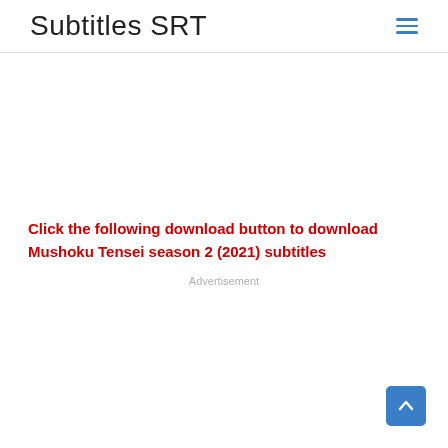Subtitles SRT
Click the following download button to download Mushoku Tensei season 2 (2021) subtitles
Advertisement